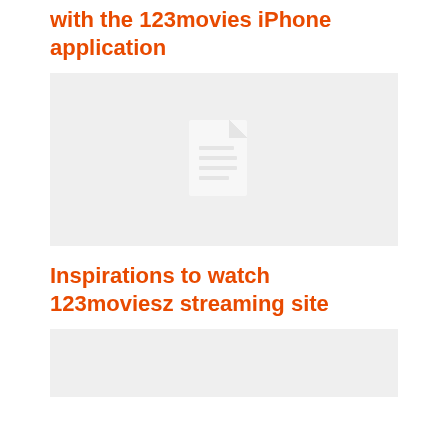with the 123movies iPhone application
[Figure (illustration): Gray placeholder box with a white document/file icon in the center]
Inspirations to watch 123moviesz streaming site
[Figure (illustration): Gray placeholder box at the bottom of the page]